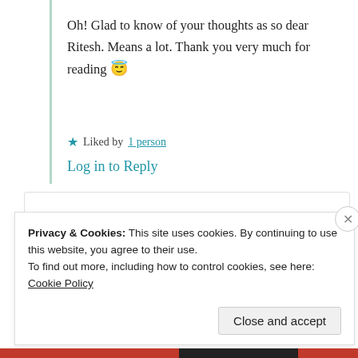Oh! Glad to know of your thoughts as so dear Ritesh. Means a lot. Thank you very much for reading 😇
★ Liked by 1 person
Log in to Reply
poetry.yashi
31st Aug 2021 at 6:43 am
Privacy & Cookies: This site uses cookies. By continuing to use this website, you agree to their use. To find out more, including how to control cookies, see here: Cookie Policy
Close and accept